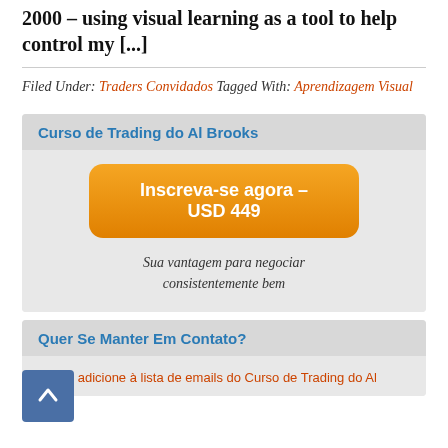2000 – using visual learning as a tool to help control my [...]
Filed Under: Traders Convidados Tagged With: Aprendizagem Visual
[Figure (infographic): Widget box titled 'Curso de Trading do Al Brooks' with an orange button 'Inscreva-se agora – USD 449' and italic tagline 'Sua vantagem para negociar consistentemente bem']
Quer Se Manter Em Contato?
Me adicione à lista de emails do Curso de Trading do Al